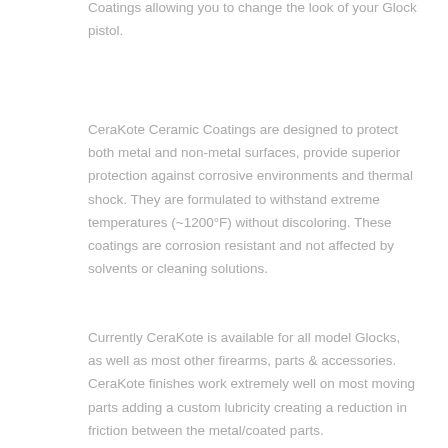Coatings allowing you to change the look of your Glock pistol.
CeraKote Ceramic Coatings are designed to protect both metal and non-metal surfaces, provide superior protection against corrosive environments and thermal shock. They are formulated to withstand extreme temperatures (~1200°F) without discoloring. These coatings are corrosion resistant and not affected by solvents or cleaning solutions.
Currently CeraKote is available for all model Glocks, as well as most other firearms, parts & accessories. CeraKote finishes work extremely well on most moving parts adding a custom lubricity creating a reduction in friction between the metal/coated parts.
CeraKote Ceramic Coatings are currently available in virtual rainbow of bright colors, earth tones, metallic & nonmetallic finish and also different gloss levels for your frame, slide or both. Please consult a GlockStore Performance & Custom representative for color